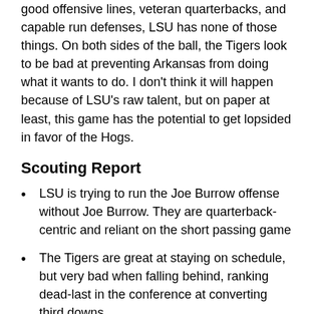good offensive lines, veteran quarterbacks, and capable run defenses, LSU has none of those things. On both sides of the ball, the Tigers look to be bad at preventing Arkansas from doing what it wants to do. I don't think it will happen because of LSU's raw talent, but on paper at least, this game has the potential to get lopsided in favor of the Hogs.
Scouting Report
LSU is trying to run the Joe Burrow offense without Joe Burrow. They are quarterback-centric and reliant on the short passing game
The Tigers are great at staying on schedule, but very bad when falling behind, ranking dead-last in the conference at converting third downs
Strategically, LSU's defense is Florida's on steroids. The Tigers blitz and blitz and blitz and get